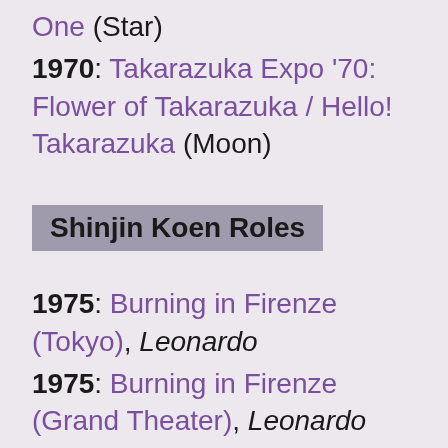One (Star)
1970: Takarazuka Expo '70: Flower of Takarazuka / Hello! Takarazuka (Moon)
Shinjin Koen Roles
1975: Burning in Firenze (Tokyo), Leonardo
1975: Burning in Firenze (Grand Theater), Leonardo
1974: Young Lion, Shake Your Mane, Matsudaira Katamori (lead role)
1973: Growing Up, Fujimoto Nobuyuki (lead role)
1973: Cante Grande